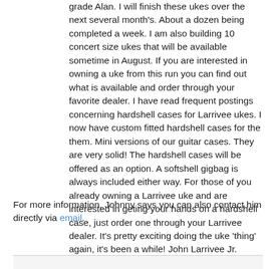grade Alan. I will finish these ukes over the next several month's. About a dozen being completed a week. I am also building 10 concert size ukes that will be available sometime in August. If you are interested in owning a uke from this run you can find out what is available and order through your favorite dealer. I have read frequent postings concerning hardshell cases for Larrivee ukes. I now have custom fitted hardshell cases for the them. Mini versions of our guitar cases. They are very solid! The hardshell cases will be offered as an option. A softshell gigbag is always included either way. For those of you already owning a Larrivee uke and are interested in geting your hands on a hardshell case, just order one through your Larrivee dealer. It's pretty exciting doing the uke 'thing' again, it's been a while! John Larrivee Jr. Carpe Diem!"
For more information, Johnny says you can also contact him directly via email.